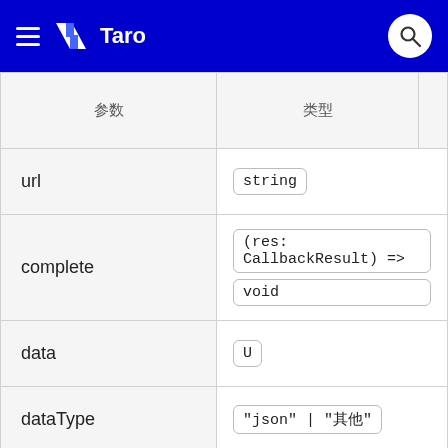Taro
| 参数 | 类型 |
| --- | --- |
| url | string |
| complete | (res: CallbackResult) => void |
| data | U |
| dataType | "json" | "其他" |
| fail | (res: CallbackResult) => |